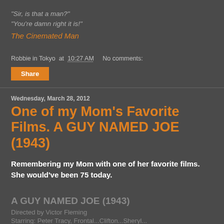"Sir, is that a man?"
"You're damn right it is!"
The Cinemated Man
Robbie in Tokyo at 10:27 AM   No comments:
Share
Wednesday, March 28, 2012
One of my Mom's Favorite Films. A GUY NAMED JOE (1943)
Remembering my Mom with one of her favorite films. She would've been 75 today.
A GUY NAMED JOE (1943)
Directed by Victor Fleming
Starring: Peter Tracy, Frontal...Clifton...Sheryl...